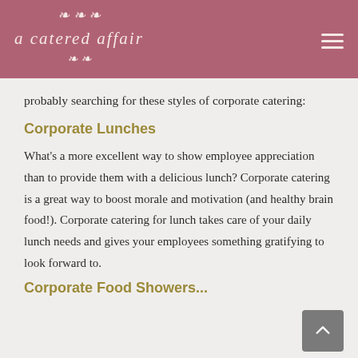a catered affair
probably searching for these styles of corporate catering:
Corporate Lunches
What's a more excellent way to show employee appreciation than to provide them with a delicious lunch? Corporate catering is a great way to boost morale and motivation (and healthy brain food!). Corporate catering for lunch takes care of your daily lunch needs and gives your employees something gratifying to look forward to.
Corporate Food Showers...